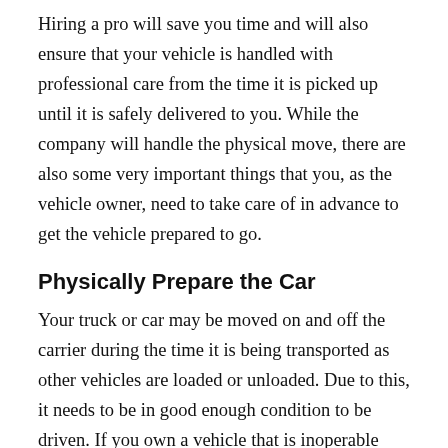Hiring a pro will save you time and will also ensure that your vehicle is handled with professional care from the time it is picked up until it is safely delivered to you. While the company will handle the physical move, there are also some very important things that you, as the vehicle owner, need to take care of in advance to get the vehicle prepared to go.
Physically Prepare the Car
Your truck or car may be moved on and off the carrier during the time it is being transported as other vehicles are loaded or unloaded. Due to this, it needs to be in good enough condition to be driven. If you own a vehicle that is inoperable you need to let